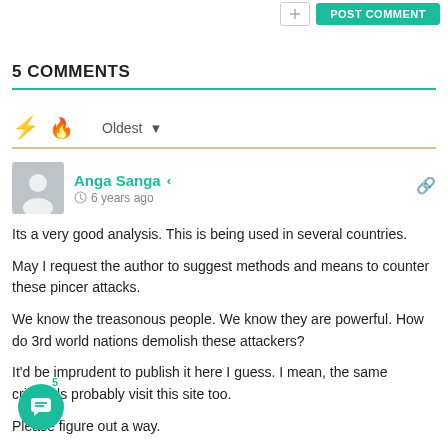5 COMMENTS
Oldest ▾
Anga Sanga  6 years ago
Its a very good analysis. This is being used in several countries.

May I request the author to suggest methods and means to counter these pincer attacks.

We know the treasonous people. We know they are powerful. How do 3rd world nations demolish these attackers?

It'd be imprudent to publish it here I guess. I mean, the same criminals probably visit this site too.

Please figure out a way.